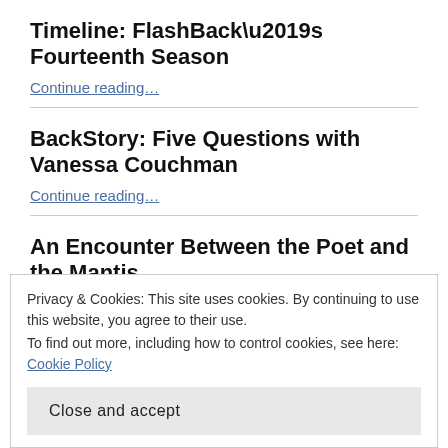Timeline: FlashBack’s Fourteenth Season
Continue reading…
BackStory: Five Questions with Vanessa Couchman
Continue reading…
An Encounter Between the Poet and the Mantis
Continue reading…
Privacy & Cookies: This site uses cookies. By continuing to use this website, you agree to their use.
To find out more, including how to control cookies, see here: Cookie Policy
Close and accept